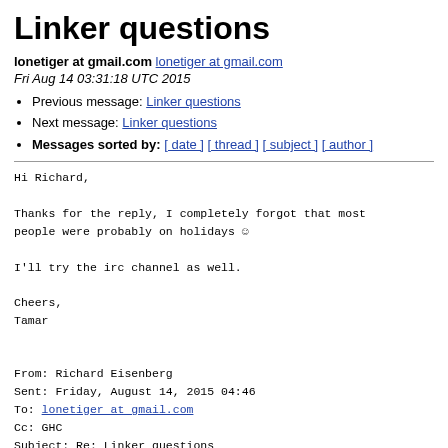Linker questions
lonetiger at gmail.com lonetiger at gmail.com
Fri Aug 14 03:31:18 UTC 2015
Previous message: Linker questions
Next message: Linker questions
Messages sorted by: [ date ] [ thread ] [ subject ] [ author ]
Hi Richard,

Thanks for the reply, I completely forgot that most
people were probably on holidays ☺

I'll try the irc channel as well.

Cheers,
Tamar
From: Richard Eisenberg
Sent: Friday, August 14, 2015 04:46
To: lonetiger at gmail.com
Cc: GHC
Subject: Re: Linker questions